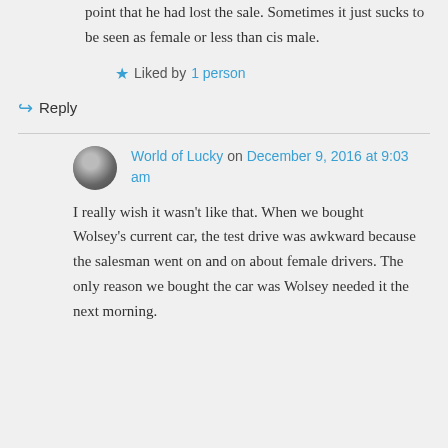point that he had lost the sale. Sometimes it just sucks to be seen as female or less than cis male.
Liked by 1 person
Reply
World of Lucky on December 9, 2016 at 9:03 am
I really wish it wasn't like that. When we bought Wolsey's current car, the test drive was awkward because the salesman went on and on about female drivers. The only reason we bought the car was Wolsey needed it the next morning.